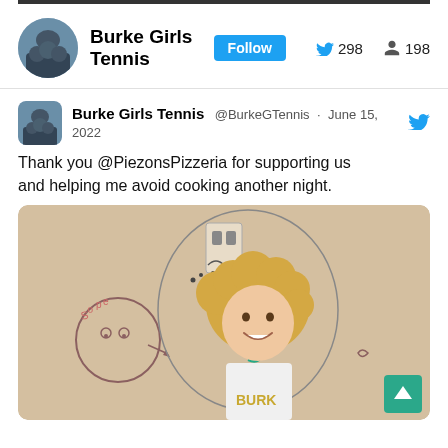[Figure (screenshot): Twitter/social media profile and tweet screenshot for Burke Girls Tennis]
Burke Girls Tennis
Follow  298  198
Burke Girls Tennis @BurkeGTennis · June 15, 2022
Thank you @PiezonsPizzeria for supporting us and helping me avoid cooking another night.
[Figure (photo): A young girl with curly blonde hair smiling in front of a wall with crayon/marker drawings on it. She is wearing a white shirt.]